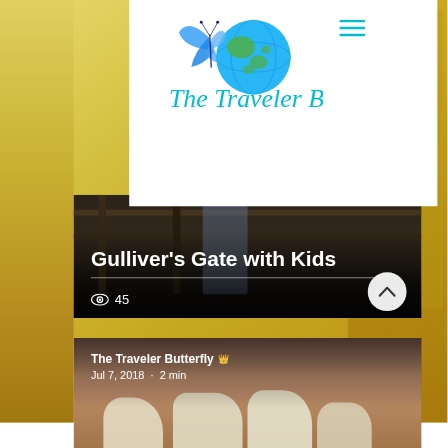[Figure (screenshot): Website screenshot of 'The Traveler Butterfly' travel blog showing logo with butterfly and globe, hamburger menu, article card for 'Gulliver's Gate with Kids' with 45 views, and a second article card by The Traveler Butterfly dated Jul 7, 2018, 2 min read, showing oryx animals in desert]
Gulliver's Gate with Kids
45
The Traveler Butterfly
Jul 7, 2018 · 2 min